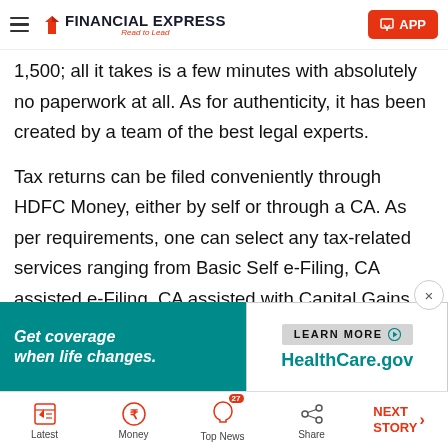FINANCIAL EXPRESS — Read to Lead | APP
1,500; all it takes is a few minutes with absolutely no paperwork at all. As for authenticity, it has been created by a team of the best legal experts.
Tax returns can be filed conveniently through HDFC Money, either by self or through a CA. As per requirements, one can select any tax-related services ranging from Basic Self e-Filing, CA assisted e-Filing, CA assisted with Capital Gains, NRI Tax Returns, Tax Query to Tax Rectification/IT Notice.
[Figure (infographic): Advertisement banner: 'Get coverage when life changes.' — HealthCare.gov — LEARN MORE button]
Latest | Money | Top News (27) | Share | NEXT STORY